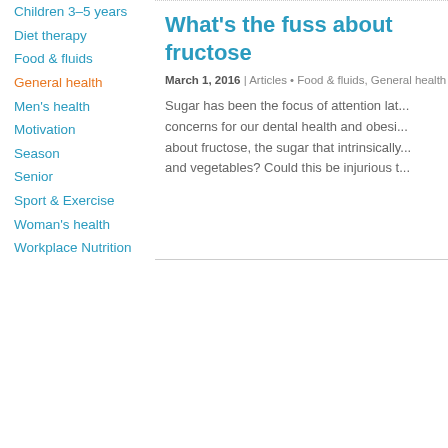Children 3–5 years
Diet therapy
Food & fluids
General health
Men's health
Motivation
Season
Senior
Sport & Exercise
Woman's health
Workplace Nutrition
What's the fuss about fructose
March 1, 2016 | Articles • Food & fluids, General health
Sugar has been the focus of attention lat... concerns for our dental health and obesi... about fructose, the sugar that intrinsically... and vegetables? Could this be injurious t...